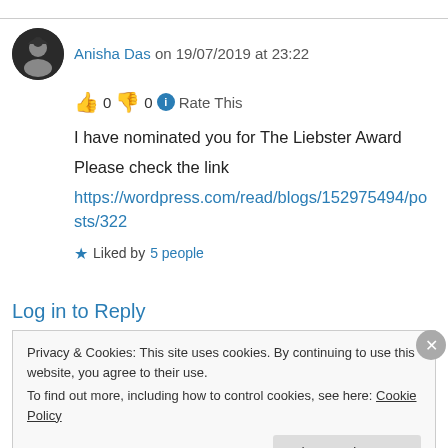Anisha Das on 19/07/2019 at 23:22
👍 0 👎 0 ℹ Rate This
I have nominated you for The Liebster Award Please check the link https://wordpress.com/read/blogs/152975494/posts/322
★ Liked by 5 people
Log in to Reply
Privacy & Cookies: This site uses cookies. By continuing to use this website, you agree to their use. To find out more, including how to control cookies, see here: Cookie Policy
Close and accept